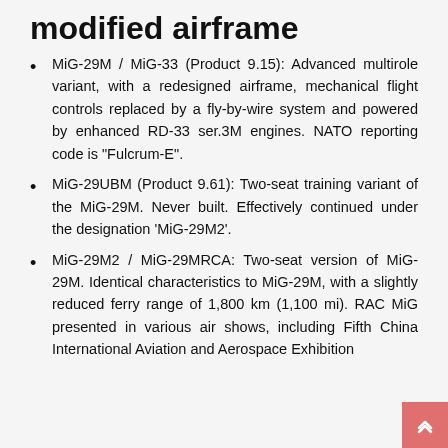modified airframe
MiG-29M / MiG-33 (Product 9.15): Advanced multirole variant, with a redesigned airframe, mechanical flight controls replaced by a fly-by-wire system and powered by enhanced RD-33 ser.3M engines. NATO reporting code is “Fulcrum-E”.
MiG-29UBM (Product 9.61): Two-seat training variant of the MiG-29M. Never built. Effectively continued under the designation ‘MiG-29M2’.
MiG-29M2 / MiG-29MRCA: Two-seat version of MiG-29M. Identical characteristics to MiG-29M, with a slightly reduced ferry range of 1,800 km (1,100 mi). RAC MiG presented in various air shows, including Fifth China International Aviation and Aerospace Exhibition